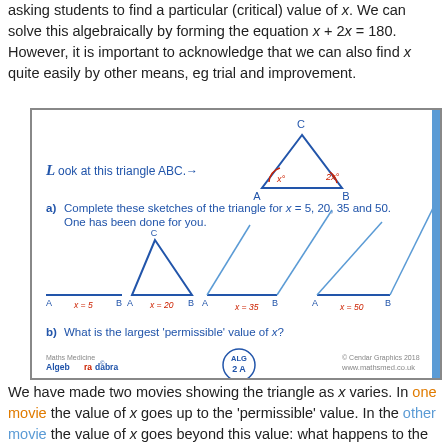asking students to find a particular (critical) value of x. We can solve this algebraically by forming the equation x + 2x = 180. However, it is important to acknowledge that we can also find x quite easily by other means, eg trial and improvement.
[Figure (illustration): A worksheet box showing: 'Look at this triangle ABC.' with a triangle diagram labelled A, B, C with angles x and 2x. Part a) asks to complete sketches of the triangle for x=5, 20, 35 and 50 with four triangle diagrams shown (one complete, others as lines). Part b) asks 'What is the largest permissible value of x?' Footer shows Maths Medicine / Algebradabra, ALG 2A circle, and www.mathsmed.co.uk.]
We have made two movies showing the triangle as x varies. In one movie the value of x goes up to the 'permissible' value. In the other movie the value of x goes beyond this value: what happens to the triangle when this occurs, and